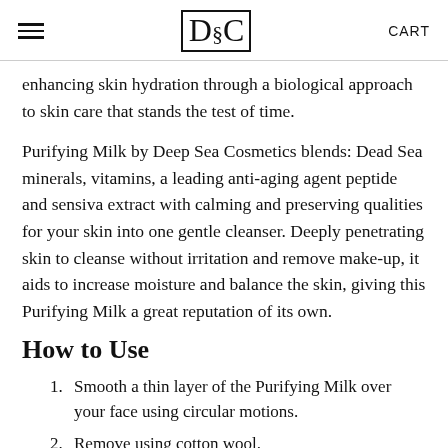≡  DSC  CART
enhancing skin hydration through a biological approach to skin care that stands the test of time.
Purifying Milk by Deep Sea Cosmetics blends: Dead Sea minerals, vitamins, a leading anti-aging agent peptide and sensiva extract with calming and preserving qualities for your skin into one gentle cleanser. Deeply penetrating skin to cleanse without irritation and remove make-up, it aids to increase moisture and balance the skin, giving this Purifying Milk a great reputation of its own.
How to Use
Smooth a thin layer of the Purifying Milk over your face using circular motions.
Remove using cotton wool.
To complete the treatment, apply the Soothing